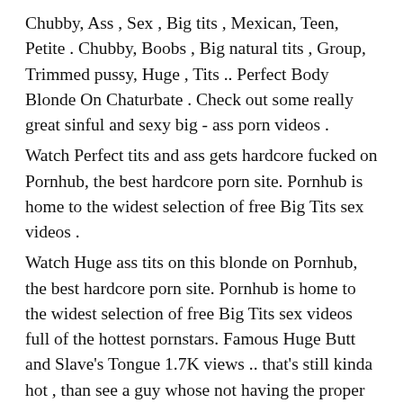Chubby, Ass , Sex , Big tits , Mexican, Teen, Petite . Chubby, Boobs , Big natural tits , Group, Trimmed pussy, Huge , Tits .. Perfect Body Blonde On Chaturbate . Check out some really great sinful and sexy big - ass porn videos .
Watch Perfect tits and ass gets hardcore fucked on Pornhub, the best hardcore porn site. Pornhub is home to the widest selection of free Big Tits sex videos .
Watch Huge ass tits on this blonde on Pornhub, the best hardcore porn site. Pornhub is home to the widest selection of free Big Tits sex videos full of the hottest pornstars. Famous Huge Butt and Slave's Tongue 1.7K views .. that's still kinda hot , than see a guy whose not having the proper response to a sexy body . 4.